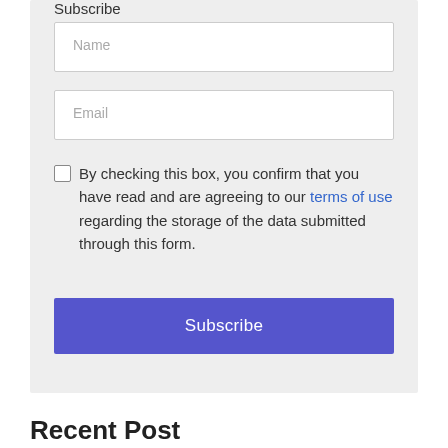Subscribe
Name
Email
By checking this box, you confirm that you have read and are agreeing to our terms of use regarding the storage of the data submitted through this form.
Subscribe
Recent Post